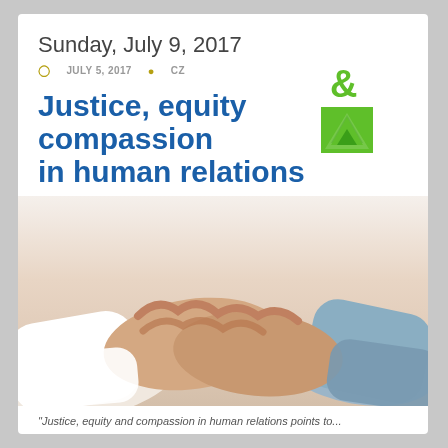Sunday, July 9, 2017
JULY 5, 2017   CZ
Justice, equity & compassion in human relations
[Figure (photo): Two sets of hands clasped together in a compassionate gesture — one pair younger in white sleeve, one pair elderly in blue denim sleeve]
"Justice, equity and compassion in human relations points to...